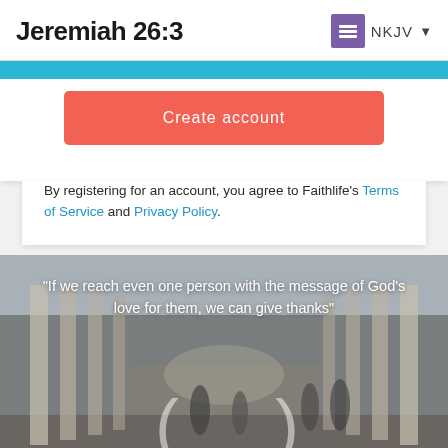Jeremiah 26:3  NKJV
[Figure (screenshot): Create account button on a white card with a blue strip at top]
By registering for an account, you agree to Faithlife's Terms of Service and Privacy Policy.
[Figure (photo): Photo of people walking through a colonnade street with a white quote overlay reading: “If we reach even one person with the message of God’s love for them, we can give thanks”]